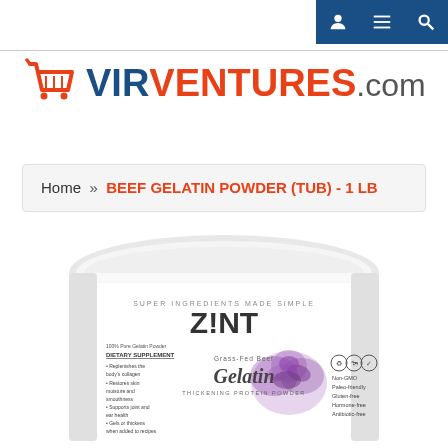VIRVENTUREScom — navigation icons (user, list, search)
Home » BEEF GELATIN POWDER (TUB) - 1 LB
[Figure (photo): Zint brand Grass-Fed Beef Gelatin Thickening Protein Powder white tub container with purple floral decoration and label showing Super Ingredients Made Simple, 100% Pure Gelatin Powder, Dietary Supplement, Non-GMO, Paleo-friendly, Gluten-free, Hormone-free, Antibiotic-free]